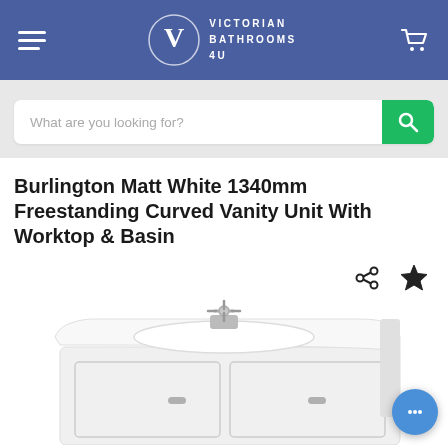Victorian Bathrooms 4U
[Figure (screenshot): Search bar with placeholder text 'What are you looking for?' and green search button]
Burlington Matt White 1340mm Freestanding Curved Vanity Unit With Worktop & Basin
[Figure (photo): Burlington Matt White 1340mm Freestanding Curved Vanity Unit with a chrome cross-head tap on a white basin/worktop, white cabinet below with panel doors and chrome handles. Share and star icons visible top right. Blue chat bubble bottom right.]